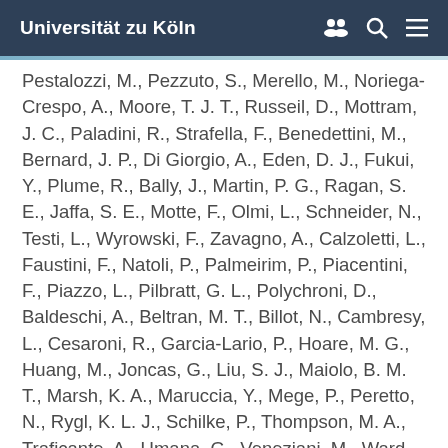Universität zu Köln
Pestalozzi, M., Pezzuto, S., Merello, M., Noriega-Crespo, A., Moore, T. J. T., Russeil, D., Mottram, J. C., Paladini, R., Strafella, F., Benedettini, M., Bernard, J. P., Di Giorgio, A., Eden, D. J., Fukui, Y., Plume, R., Bally, J., Martin, P. G., Ragan, S. E., Jaffa, S. E., Motte, F., Olmi, L., Schneider, N., Testi, L., Wyrowski, F., Zavagno, A., Calzoletti, L., Faustini, F., Natoli, P., Palmeirim, P., Piacentini, F., Piazzo, L., Pilbratt, G. L., Polychroni, D., Baldeschi, A., Beltran, M. T., Billot, N., Cambresy, L., Cesaroni, R., Garcia-Lario, P., Hoare, M. G., Huang, M., Joncas, G., Liu, S. J., Maiolo, B. M. T., Marsh, K. A., Maruccia, Y., Mege, P., Peretto, N., Rygl, K. L. J., Schilke, P., Thompson, M. A., Traficante, A., Umana, G., Veneziani, M., Ward-Thompson, D., Whitworth, A. P.,